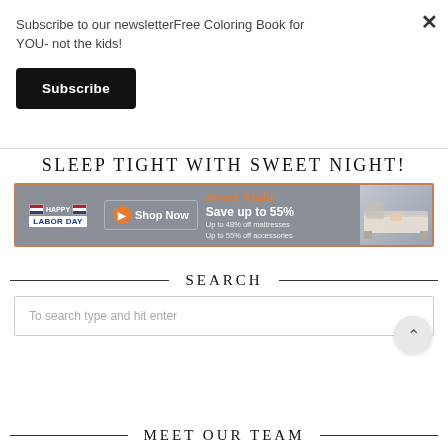Subscribe to our newsletterFree Coloring Book for YOU- not the kids!
Subscribe
SLEEP TIGHT WITH SWEET NIGHT!
[Figure (infographic): Sweet Night mattress ad banner for Happy Labor Day, Save up to 55%, Shop Now, Up to 48% off mattresses, Up to 55% off accessories, with a bed photo on the right]
SEARCH
To search type and hit enter
MEET OUR TEAM